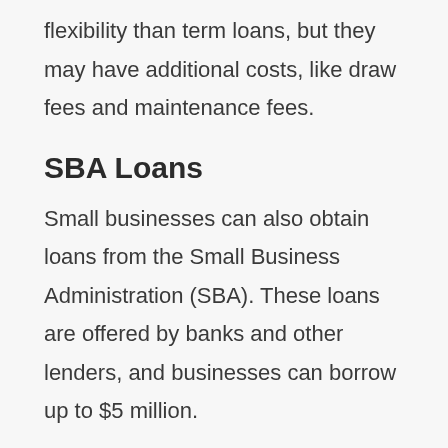flexibility than term loans, but they may have additional costs, like draw fees and maintenance fees.
SBA Loans
Small businesses can also obtain loans from the Small Business Administration (SBA). These loans are offered by banks and other lenders, and businesses can borrow up to $5 million.